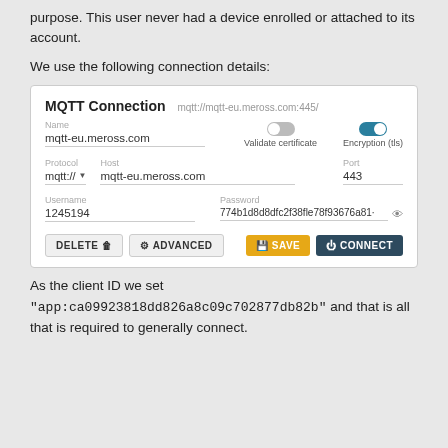purpose. This user never had a device enrolled or attached to its account.
We use the following connection details:
[Figure (screenshot): MQTT Connection dialog showing fields: Name (mqtt-eu.meross.com), Protocol (mqtt://), Host (mqtt-eu.meross.com), Port (443), Username (1245194), Password (774b1d8d8dfc2f38fle78f93676a81-), with Validate certificate toggle (off) and Encryption (tls) toggle (on), and buttons: DELETE, ADVANCED, SAVE, CONNECT]
As the client ID we set "app:ca09923818dd826a8c09c702877db82b" and that is all that is required to generally connect.